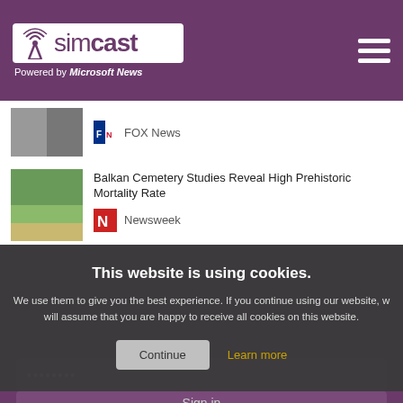simcast — Powered by Microsoft News
FOX News
Balkan Cemetery Studies Reveal High Prehistoric Mortality Rate — Newsweek
This website is using cookies. We use them to give you the best experience. If you continue using our website, we will assume that you are happy to receive all cookies on this website.
Continue
Learn more
Remember me
Sign in